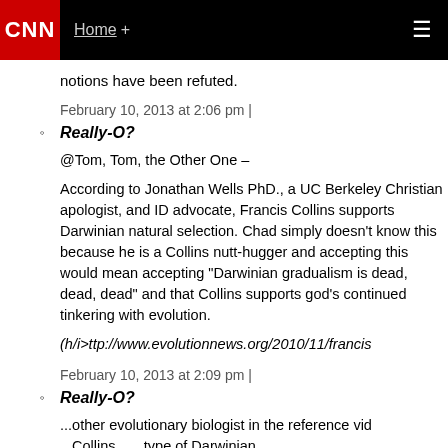CNN | Home +
notions have been refuted.
February 10, 2013 at 2:06 pm |
Really-O?
@Tom, Tom, the Other One –
According to Jonathan Wells PhD., a UC Berkeley Christian apologist, and ID advocate, Francis Collins supports Darwinian natural selection. Chad simply doesn't know this because he is a Collins nutt-hugger and accepting this would mean accepting "Darwinian gradualism is dead, dead, dead" and that Collins supports god's continued tinkering with evolution.
(h/i>ttp://www.evolutionnews.org/2010/11/francis
February 10, 2013 at 2:09 pm |
Really-O?
...other evolutionary biologist in the reference vid... ...Collins... ...type of Darwinian...